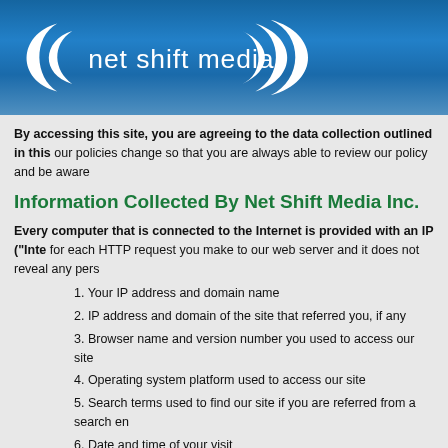[Figure (logo): Net Shift Media logo: white crescent/arc shapes on left and right of white text 'net shift media' on a blue gradient banner background]
By accessing this site, you are agreeing to the data collection outlined in this our policies change so that you are always able to review our policy and be aware
Information Collected By Net Shift Media Inc.
Every computer that is connected to the Internet is provided with an IP ("Inte for each HTTP request you make to our web server and it does not reveal any pers
1. Your IP address and domain name
2. IP address and domain of the site that referred you, if any
3. Browser name and version number you used to access our site
4. Operating system platform used to access our site
5. Search terms used to find our site if you are referred from a search en
6. Date and time of your visit
7. Pages/files accessed during your visit